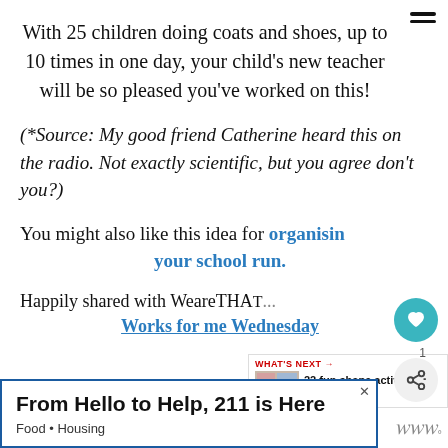With 25 children doing coats and shoes, up to 10 times in one day, your child's new teacher will be so pleased you've worked on this!
(*Source: My good friend Catherine heard this on the radio. Not exactly scientific, but you agree don't you?)
You might also like this idea for organising your school run.
Happily shared with WeareTHA[T]...
Works for me Wednesday
[Figure (screenshot): WHAT'S NEXT panel with thumbnail image and text '22 fun shape activities for...']
[Figure (screenshot): Advertisement banner: 'From Hello to Help, 211 is Here' with subtitle 'Food · Housing']